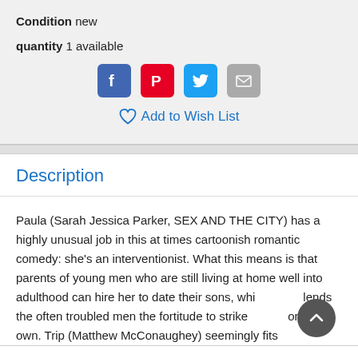Condition new
quantity 1 available
[Figure (infographic): Social sharing icons: Facebook (blue), Pinterest (red), Twitter (cyan), Email (grey)]
Add to Wish List
Description
Paula (Sarah Jessica Parker, SEX AND THE CITY) has a highly unusual job in this at times cartoonish romantic comedy: she's an interventionist. What this means is that parents of young men who are still living at home well into adulthood can hire her to date their sons, which lends the often troubled men the fortitude to strike out on their own. Trip (Matthew McConaughey) seemingly fits